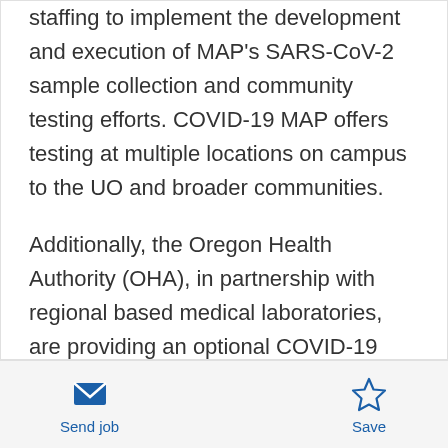staffing to implement the development and execution of MAP's SARS-CoV-2 sample collection and community testing efforts. COVID-19 MAP offers testing at multiple locations on campus to the UO and broader communities.
Additionally, the Oregon Health Authority (OHA), in partnership with regional based medical laboratories, are providing an optional COVID-19 screening testing program for students at public and private K-12 schools throughout Oregon. This program is free for schools and parents/guardians and an important tool
Send job | Save